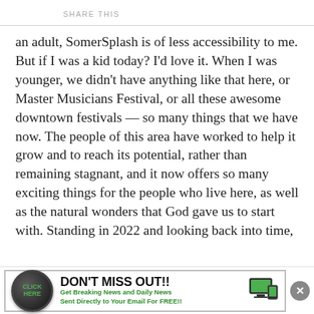SHARE THIS
an adult, SomerSplash is of less accessibility to me. But if I was a kid today? I’d love it. When I was younger, we didn’t have anything like that here, or Master Musicians Festival, or all these awesome downtown festivals — so many things that we have now. The people of this area have worked to help it grow and to reach its potential, rather than remaining stagnant, and it now offers so many exciting things for the people who live here, as well as the natural wonders that God gave us to start with. Standing in 2022 and looking back into time,
[Figure (infographic): Advertisement banner: green 'CLICK HERE' button on left, bold text 'DON’T MISS OUT!!' with subtext 'Get Breaking News and Daily News Sent Directly to Your Email For FREE!!', device image on right, close button (X) at far right.]